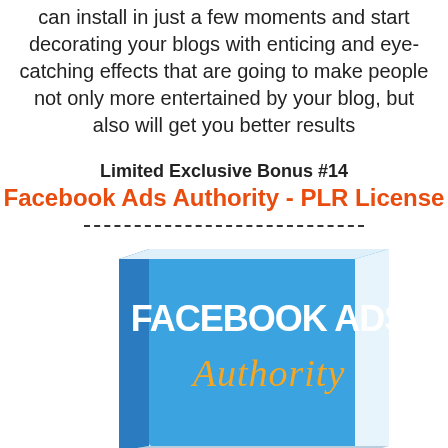can install in just a few moments and start decorating your blogs with enticing and eye-catching effects that are going to make people not only more entertained by your blog, but also will get you better results
Limited Exclusive Bonus #14
Facebook Ads Authority - PLR License
[Figure (illustration): A blue 3D book cover titled 'FACEBOOK ADS Authority' with white and orange text on a light blue background.]